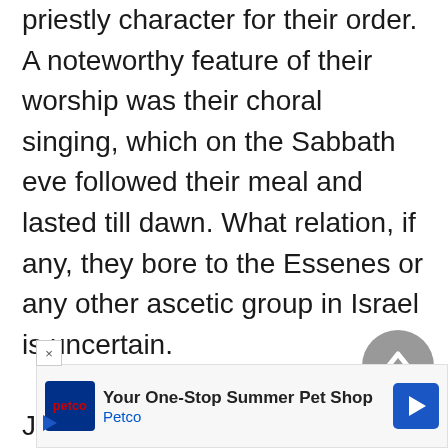priestly character for their order. A noteworthy feature of their worship was their choral singing, which on the Sabbath eve followed their meal and lasted till dawn. What relation, if any, they bore to the Essenes or any other ascetic group in Israel is uncertain.

John the Baptist is not called an ascetic by Josephus (Ant., 18:116–9), but he is so described in the Gospel tradition. According to Mark (1:6) he wo... b...
[Figure (other): Gray circular scroll-to-top button with upward chevron arrow]
[Figure (other): Advertisement banner for Petco: 'Your One-Stop Summer Pet Shop' with Petco logo and blue navigation arrow icon]